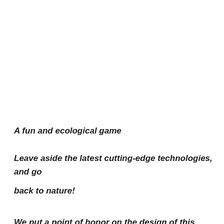A fun and ecological game
Leave aside the latest cutting-edge technologies, and go back to nature!
We put a point of honor on the design of this game, so that it is in adequacy with the ecological values and respectful